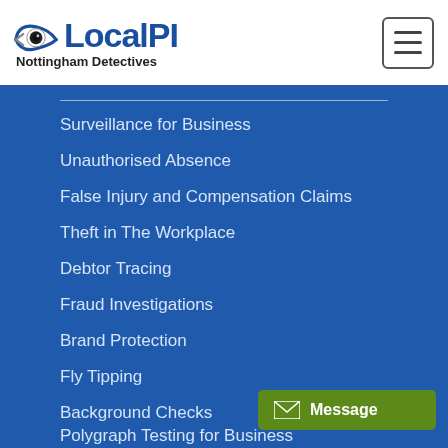LocalPI - Nottingham Detectives
Surveillance for Business
Unauthorised Absence
False Injury and Compensation Claims
Theft in The Workplace
Debtor Tracing
Fraud Investigations
Brand Protection
Fly Tipping
Background Checks
Polygraph Testing for Business